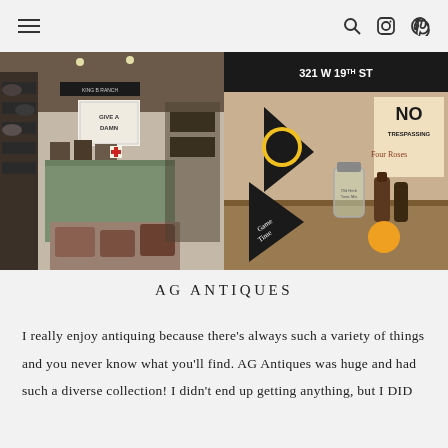Navigation header with hamburger menu and icons for search, Instagram, Pinterest
[Figure (photo): Interior of AG Antiques store showing shelves with hats, display cases with various antique items, a sign reading 'GIVE A DAMN', crates and rustic furniture, leather trays in foreground]
[Figure (photo): Close-up of antique store display with a sign reading '321 W 19TH ST', vintage pennants, glass jars, bottles, a 'NO TRESPASSING' sign, and 'Four Roses' branding]
AG ANTIQUES
I really enjoy antiquing because there’s always such a variety of things and you never know what you’ll find. AG Antiques was huge and had such a diverse collection! I didn’t end up getting anything, but I DID